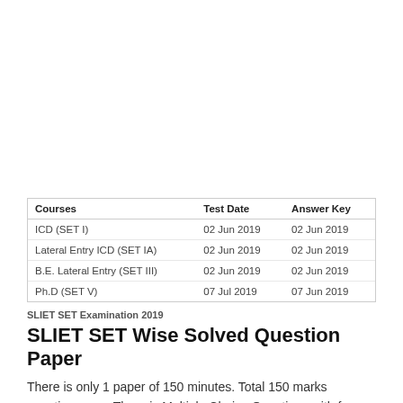| Courses | Test Date | Answer Key |
| --- | --- | --- |
| ICD (SET I) | 02 Jun 2019 | 02 Jun 2019 |
| Lateral Entry ICD (SET IA) | 02 Jun 2019 | 02 Jun 2019 |
| B.E. Lateral Entry (SET III) | 02 Jun 2019 | 02 Jun 2019 |
| Ph.D (SET V) | 07 Jul 2019 | 07 Jun 2019 |
SLIET SET Examination 2019
SLIET SET Wise Solved Question Paper
There is only 1 paper of 150 minutes. Total 150 marks question paper.There is Multiple Choice Questions with four